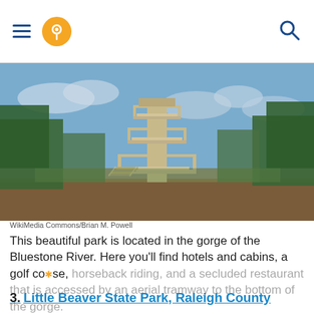Navigation header with hamburger menu, location pin icon, and search icon
[Figure (photo): A tall multi-level wooden observation tower with railings and stairs, set on a dirt clearing surrounded by green trees under a partly cloudy blue sky.]
WikiMedia Commons/Brian M. Powell
This beautiful park is located in the gorge of the Bluestone River. Here you'll find hotels and cabins, a golf course, horseback riding, and a secluded restaurant that is accessed by an aerial tramway to the bottom of the gorge.
3. Little Beaver State Park, Raleigh County